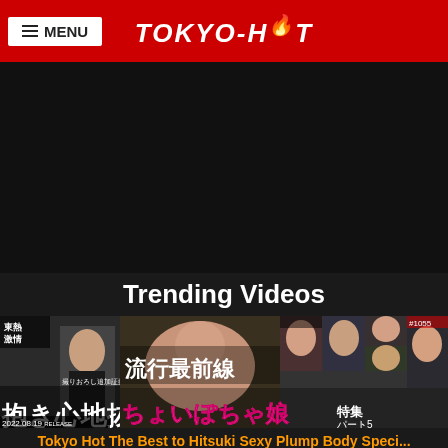MENU | TOKYO-HOT
[Figure (screenshot): Black video player area]
Trending Videos
[Figure (screenshot): Thumbnail collage strip of Tokyo Hot trending videos with Japanese text overlays: 東熱激情, 流行最前線, 抱き心地抜群, ちょいぽちゃ娘特集パート5, 2022.08.19 RELEASE]
Tokyo Hot The Best to Hitsuki Sexy Plump Body Speci...